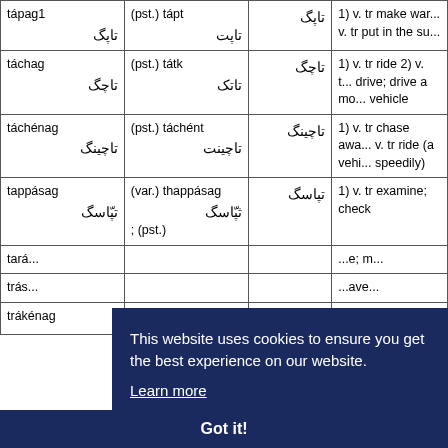| Entry | Forms | Root | Definition |
| --- | --- | --- | --- |
| tápag1 تاپگ | (pst.) tápt تاپت | تاپگ | 1) v. tr make war... v. tr put in the su... |
| táchag تاچگ | (pst.) tátk تاتک | تاچگ | 1) v. tr ride 2) v. t... drive; drive a mo... vehicle |
| táchénag تاچینگ | (pst.) táchént تاچینت | تاچینگ | 1) v. tr chase awa... v. tr ride (a vehic... speedily) |
| tappásag تپّاسگ | (var.) thappásag ثپّاسگ; (pst.) | تپاسگ | 1) v. tr examine; check |
| tará... | ... | ... | ...e; m... |
| trás... | ... | ... | ...ave... |
| trákénag | (pst.) tráként | تراکنگ | 1) v. tr make... |
This website uses cookies to ensure you get the best experience on our website.
Learn more
Got it!